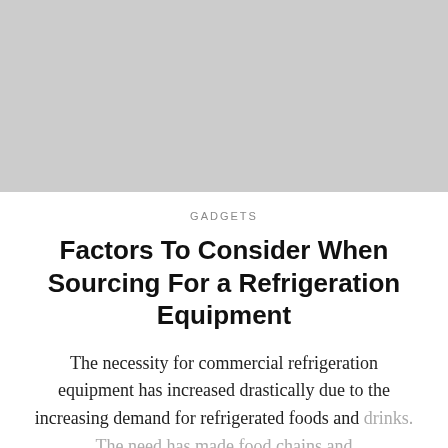[Figure (photo): Gray placeholder image at the top of the page]
GADGETS
Factors To Consider When Sourcing For a Refrigeration Equipment
The necessity for commercial refrigeration equipment has increased drastically due to the increasing demand for refrigerated foods and drinks. The need has made food chains and